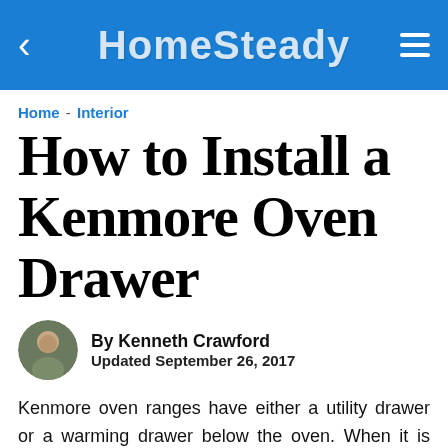HomeSteady
Home - Interior
How to Install a Kenmore Oven Drawer
By Kenneth Crawford
Updated September 26, 2017
Kenmore oven ranges have either a utility drawer or a warming drawer below the oven. When it is necessary to unplug the oven or turn off the gas, you must remove the oven drawer. There are also